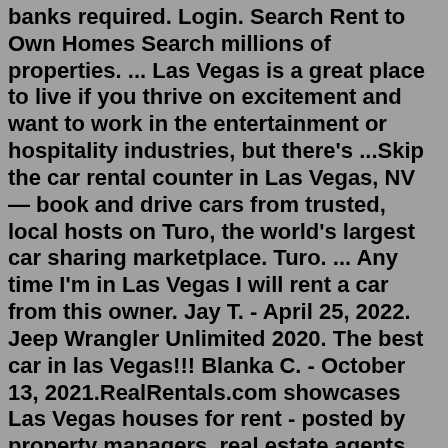banks required. Login. Search Rent to Own Homes Search millions of properties. ... Las Vegas is a great place to live if you thrive on excitement and want to work in the entertainment or hospitality industries, but there's ...Skip the car rental counter in Las Vegas, NV — book and drive cars from trusted, local hosts on Turo, the world's largest car sharing marketplace. Turo. ... Any time I'm in Las Vegas I will rent a car from this owner. Jay T. - April 25, 2022. Jeep Wrangler Unlimited 2020. The best car in las Vegas!!! Blanka C. - October 13, 2021.RealRentals.com showcases Las Vegas houses for rent - posted by property managers, real estate agents, and private homeowners. Hundreds of new rental houses are added daily, so you're sure to find a great Las Vegas rental house in no time. Do you have a house, or multiple houses for rent in Las Vegas? RVParkStore.com has 0 RV Lots for Sale near Las Vegas, NV. ... Las Vegas RVs for Sale Las Vegas RV Lots for Rent Las Vegas RV Park/Campgrounds Zip Codes in Las Vegas, NV 89044 RV Lots for Sale